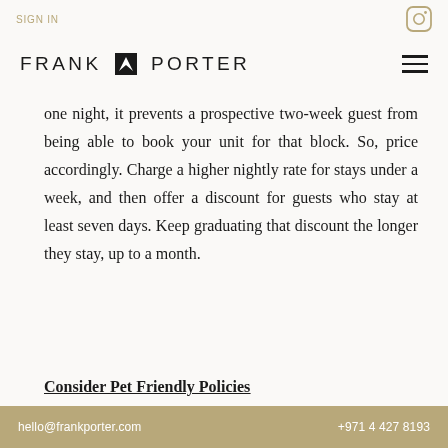SIGN IN
[Figure (logo): Frank Porter logo with stylized bird/arrow icon between FRANK and PORTER wordmark]
one night, it prevents a prospective two-week guest from being able to book your unit for that block. So, price accordingly. Charge a higher nightly rate for stays under a week, and then offer a discount for guests who stay at least seven days. Keep graduating that discount the longer they stay, up to a month.
Consider Pet Friendly Policies
hello@frankporter.com | +971 4 427 8193